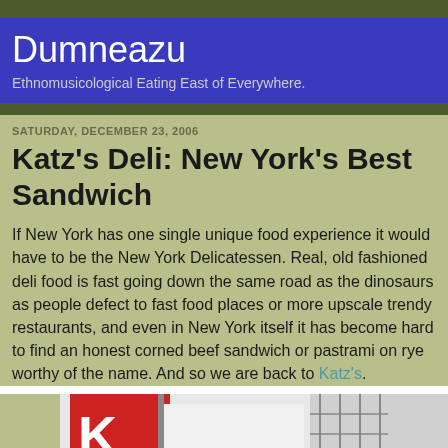Dumneazu
Ethnomusicological Eating East of Everywhere.
SATURDAY, DECEMBER 23, 2006
Katz's Deli: New York's Best Sandwich
If New York has one single unique food experience it would have to be the New York Delicatessen. Real, old fashioned deli food is fast going down the same road as the dinosaurs as people defect to fast food places or more upscale trendy restaurants, and even in New York itself it has become hard to find an honest corned beef sandwich or pastrami on rye worthy of the name. And so we are back to Katz's.
[Figure (photo): Photo of Katz's Deli sign in New York City, showing the large red sign with letters K, A, T visible, with a building under construction in the background.]